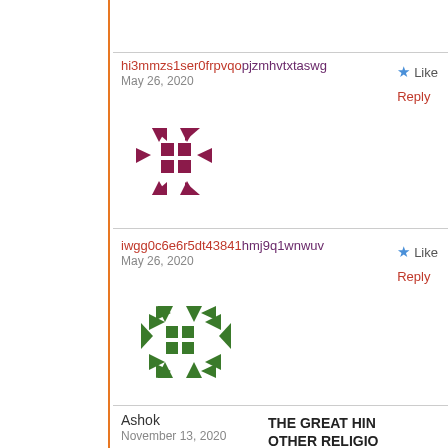[Figure (illustration): Decorative WordPress avatar icon in dark red/maroon geometric pattern]
hi3mmzs1ser0frpvqopjzmhvtxtaswg
May 26, 2020
Like
Reply
[Figure (illustration): Decorative WordPress avatar icon in green geometric pattern]
iwgg0c6e6r5dt43841hmj9q1wnwuv
May 26, 2020
Like
Reply
[Figure (illustration): Decorative WordPress avatar icon in purple geometric pattern]
Ashok
November 13, 2020
THE GREAT HIN… OTHER RELIGIO…
The Great Hind… indicative of th…